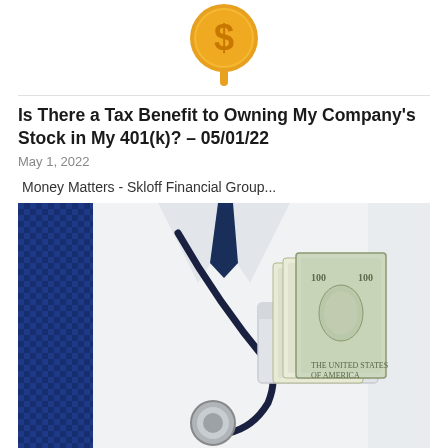[Figure (illustration): Gold dollar sign icon/emoji at top of page]
Is There a Tax Benefit to Owning My Company's Stock in My 401(k)? – 05/01/22
May 1, 2022
Money Matters - Skloff Financial Group...
[Figure (photo): Doctor in white lab coat with stethoscope and $100 bills in breast pocket]